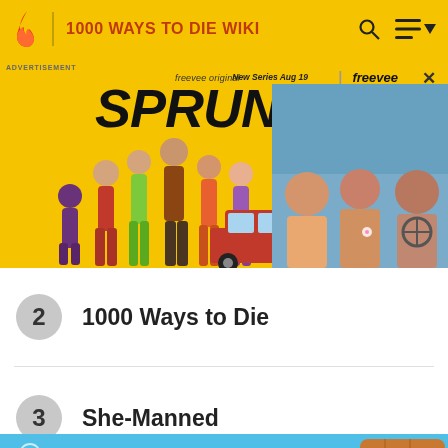1000 WAYS TO DIE WIKI
[Figure (screenshot): Advertisement banner for 'SPRUNG' freevee original series. Shows cast of colorful characters and a photo of actors in a car. Text: 'freevee original', 'SPRUNG', 'New Series Aug 19 | freevee']
2  1000 Ways to Die
3  She-Manned
[Figure (screenshot): Partial image of SpongeBob SquarePants cartoon character underwater scene with blue background and pineapple house visible on right edge]